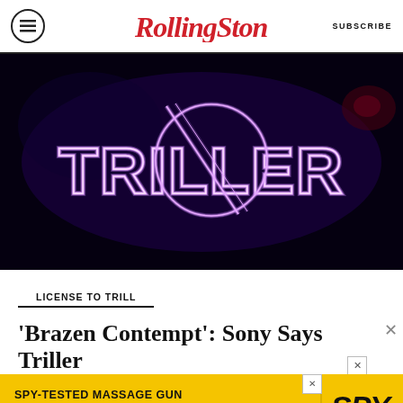Rolling Stone | SUBSCRIBE
[Figure (photo): Neon purple TRILLER logo sign glowing against a dark background]
LICENSE TO TRILL
'Brazen Contempt': Sony Says Triller
[Figure (infographic): Advertisement: SPY-TESTED MASSAGE GUN NOW JUST $79 with SPY logo on yellow background]